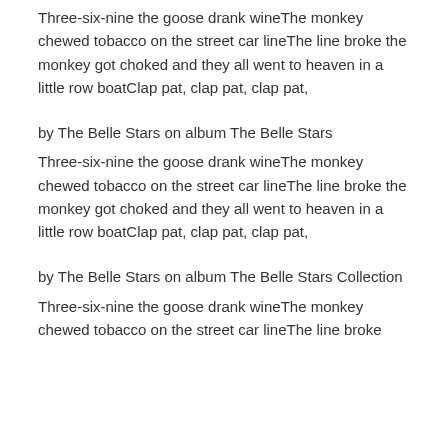Three-six-nine the goose drank wineThe monkey chewed tobacco on the street car lineThe line broke the monkey got choked and they all went to heaven in a little row boatClap pat, clap pat, clap pat,
by The Belle Stars on album The Belle Stars
Three-six-nine the goose drank wineThe monkey chewed tobacco on the street car lineThe line broke the monkey got choked and they all went to heaven in a little row boatClap pat, clap pat, clap pat,
by The Belle Stars on album The Belle Stars Collection
Three-six-nine the goose drank wineThe monkey chewed tobacco on the street car lineThe line broke